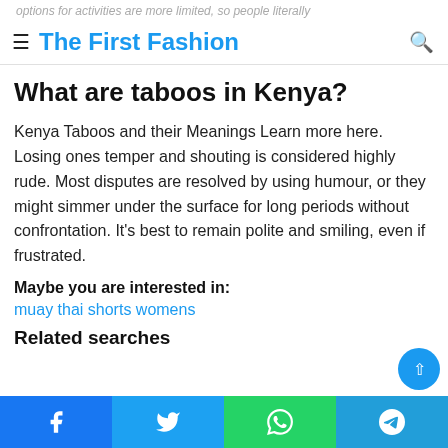options for activities are more limited, so people literally
The First Fashion
What are taboos in Kenya?
Kenya Taboos and their Meanings Learn more here. Losing ones temper and shouting is considered highly rude. Most disputes are resolved by using humour, or they might simmer under the surface for long periods without confrontation. It's best to remain polite and smiling, even if frustrated.
Maybe you are interested in:
muay thai shorts womens
Related searches